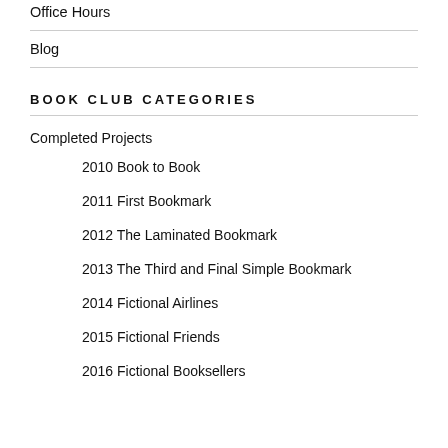Office Hours
Blog
BOOK CLUB CATEGORIES
Completed Projects
2010 Book to Book
2011 First Bookmark
2012 The Laminated Bookmark
2013 The Third and Final Simple Bookmark
2014 Fictional Airlines
2015 Fictional Friends
2016 Fictional Booksellers